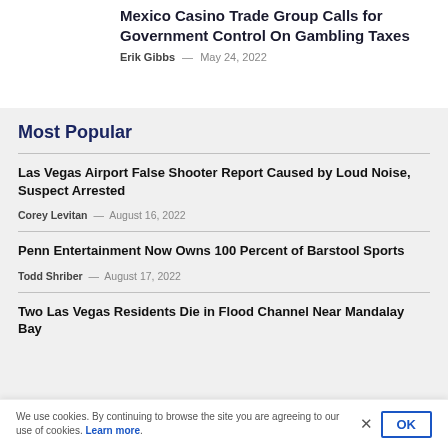Mexico Casino Trade Group Calls for Government Control On Gambling Taxes
Erik Gibbs — May 24, 2022
Most Popular
Las Vegas Airport False Shooter Report Caused by Loud Noise, Suspect Arrested
Corey Levitan — August 16, 2022
Penn Entertainment Now Owns 100 Percent of Barstool Sports
Todd Shriber — August 17, 2022
Two Las Vegas Residents Die in Flood Channel Near Mandalay Bay
We use cookies. By continuing to browse the site you are agreeing to our use of cookies. Learn more.